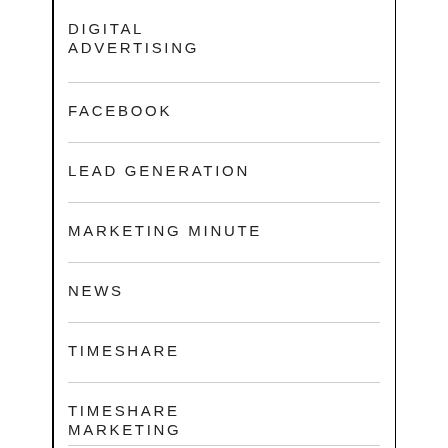DIGITAL ADVERTISING
FACEBOOK
LEAD GENERATION
MARKETING MINUTE
NEWS
TIMESHARE
TIMESHARE MARKETING